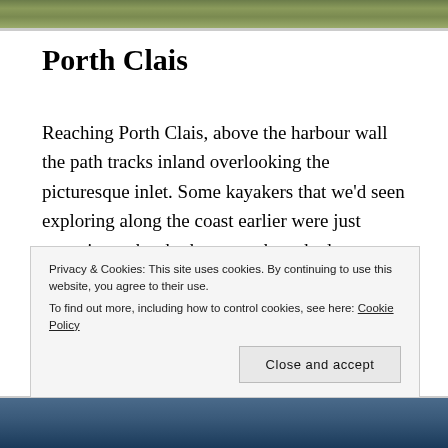[Figure (photo): Top portion of an outdoor landscape photo, partially cropped, showing greenery and rocky terrain.]
Porth Clais
Reaching Porth Clais, above the harbour wall the path tracks inland overlooking the picturesque inlet. Some kayakers that we'd seen exploring along the coast earlier were just returning to berth, they must have had a fantastic day in near perfect conditions. Porth Clais is a popular place for this activity and rows of colourful kayaks lined the quayside.
Privacy & Cookies: This site uses cookies. By continuing to use this website, you agree to their use.
To find out more, including how to control cookies, see here: Cookie Policy
[Figure (photo): Bottom portion of an outdoor photo showing blue-green water or rocky coastal scenery.]